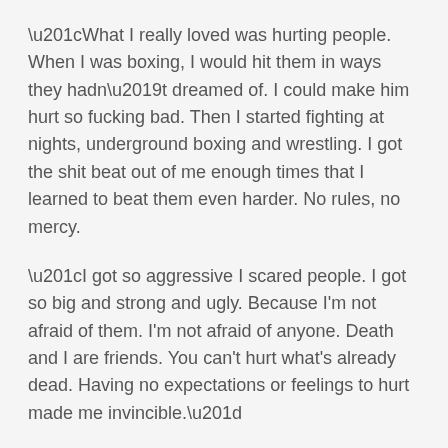“What I really loved was hurting people. When I was boxing, I would hit them in ways they hadn’t dreamed of. I could make him hurt so fucking bad. Then I started fighting at nights, underground boxing and wrestling. I got the shit beat out of me enough times that I learned to beat them even harder. No rules, no mercy.
“I got so aggressive I scared people. I got so big and strong and ugly. Because I'm not afraid of them. I'm not afraid of anyone. Death and I are friends. You can't hurt what's already dead. Having no expectations or feelings to hurt made me invincible.”
Nile licked her lips and smirked at me, like she was about to start opening my pants. My sins were turning her on. I kept going.